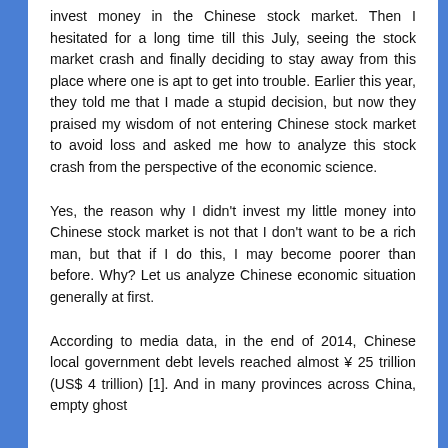invest money in the Chinese stock market. Then I hesitated for a long time till this July, seeing the stock market crash and finally deciding to stay away from this place where one is apt to get into trouble. Earlier this year, they told me that I made a stupid decision, but now they praised my wisdom of not entering Chinese stock market to avoid loss and asked me how to analyze this stock crash from the perspective of the economic science.
Yes, the reason why I didn't invest my little money into Chinese stock market is not that I don't want to be a rich man, but that if I do this, I may become poorer than before. Why? Let us analyze Chinese economic situation generally at first.
According to media data, in the end of 2014, Chinese local government debt levels reached almost ¥ 25 trillion (US$ 4 trillion) [1]. And in many provinces across China, empty ghost